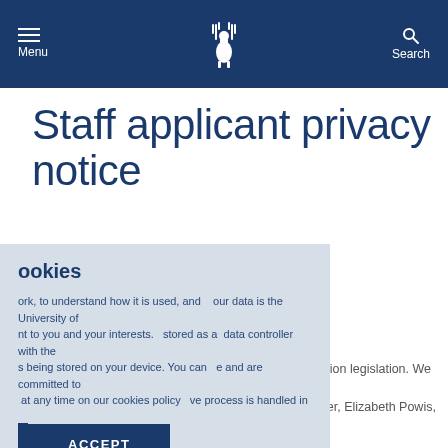Menu | University of Surrey | Search
Staff applicant privacy notice
our data is the University of data controller with the e and are committed to ve process is handled in accordance with data protection legislation. We have a named Data Protection Officer, Elizabeth Powis, who can be ion@surrey.ac.uk
ookies
ork, to understand how it is used, and nt to you and your interests. stored as a s being stored on your device. You can at any time on our cookies policy
As part of any recruitment process, the University of Surrey